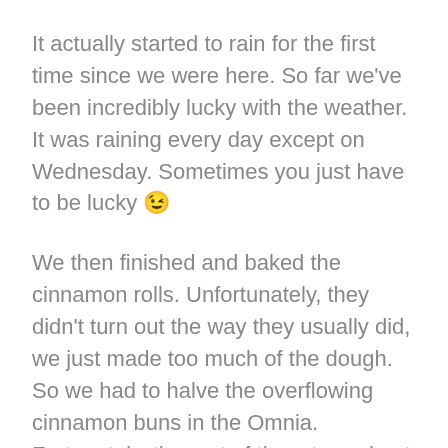It actually started to rain for the first time since we were here. So far we've been incredibly lucky with the weather. It was raining every day except on Wednesday. Sometimes you just have to be lucky 😉
We then finished and baked the cinnamon rolls. Unfortunately, they didn't turn out the way they usually did, we just made too much of the dough. So we had to halve the overflowing cinnamon buns in the Omnia. Fortunately, the rest of them turned out to be very tasty, despite the fact that they were burnt on the side and bottom. The next time we'll only make half the amount of dough again, and then they'll be as good as ever!